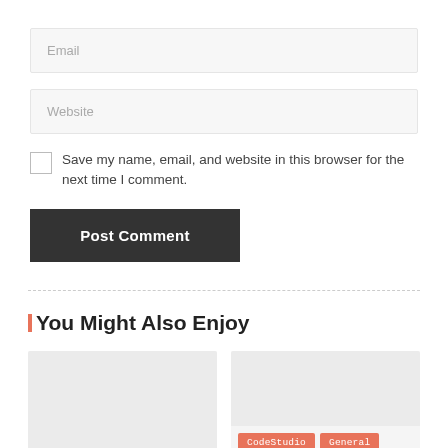Email
Website
Save my name, email, and website in this browser for the next time I comment.
Post Comment
You Might Also Enjoy
[Figure (screenshot): Two article preview cards side by side. Left card has tags: General, Miscellaneous. Right card has tags: CodeStudio, General, Interview Experiences.]